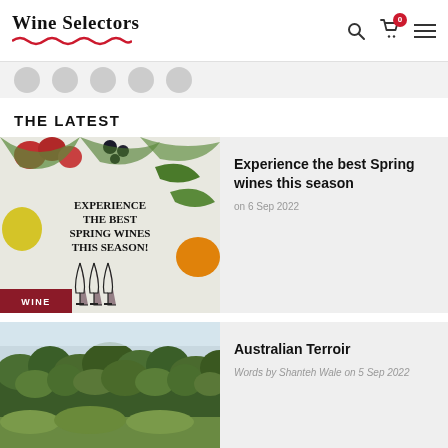Wine Selectors
THE LATEST
[Figure (photo): Promotional image for spring wines featuring fruit illustrations, text overlay reading EXPERIENCE THE BEST SPRING WINES THIS SEASON!, wine glasses, and WINE badge]
Experience the best Spring wines this season
on 6 Sep 2022
[Figure (photo): Landscape photo of dense green trees/forest for Australian Terroir article]
Australian Terroir
Words by Shanteh Wale on 5 Sep 2022